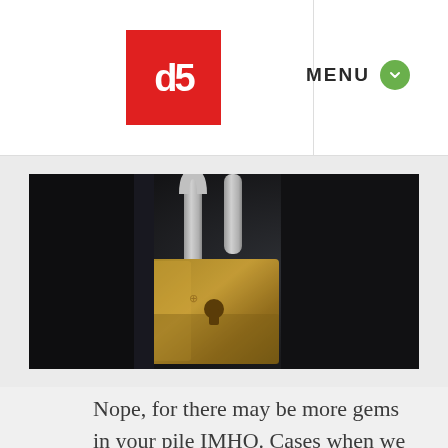db | MENU
[Figure (photo): Close-up photograph of a brass padlock on a dark background]
Nope, for there may be more gems in your pile IMHO. Cases when we have “a picture within a picture”. I am not talking here of cropping. Sometimes it takes including extreme cropping to get the best possible result, and